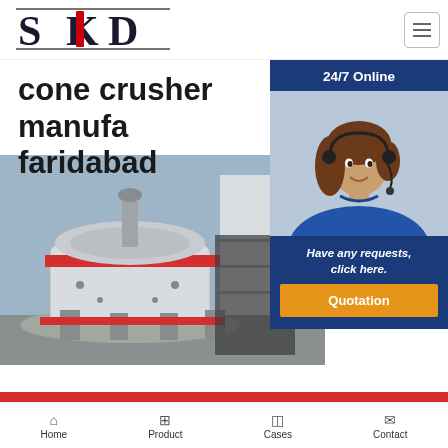[Figure (logo): SKD company logo with stylized S, K, D letters in black serif font with decorative lines]
cone crusher manufacturer faridabad
[Figure (photo): Industrial cone crusher machine in a factory setting, large white and metal machinery with red accent stripe, blue and grey background]
[Figure (photo): Customer service representative woman wearing headset and blue uniform, smiling, 24/7 Online chat widget overlay with dark blue background, italic text 'Have any requests, click here.' and orange Quotation button]
Home  Product  Cases  Contact